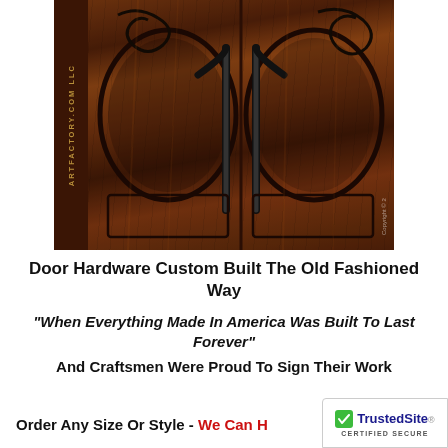[Figure (photo): Close-up photo of ornate custom wooden double doors with wrought iron decorative hardware including large circular ring handles and scrollwork, dark stained wood with visible grain, ArtFactory.com LLC watermark on the left sidebar]
Door Hardware Custom Built The Old Fashioned Way
"When Everything Made In America Was Built To Last Forever" And Craftsmen Were Proud To Sign Their Work
Order Any Size Or Style - We Can H...